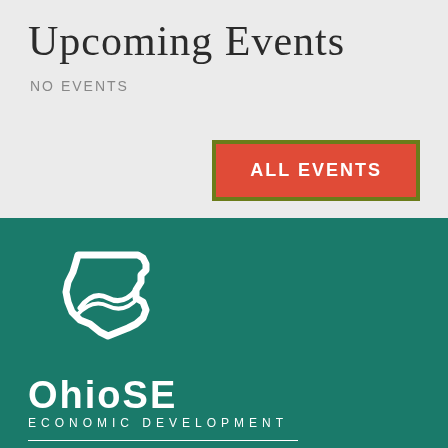Upcoming Events
NO EVENTS
ALL EVENTS
[Figure (logo): OhioSE Economic Development logo with Ohio state outline icon and text 'OhioSE ECONOMIC DEVELOPMENT', with JobsOhio Network Partner text below a dividing line]
Our perspective spans across your favorite channels. We have a lot